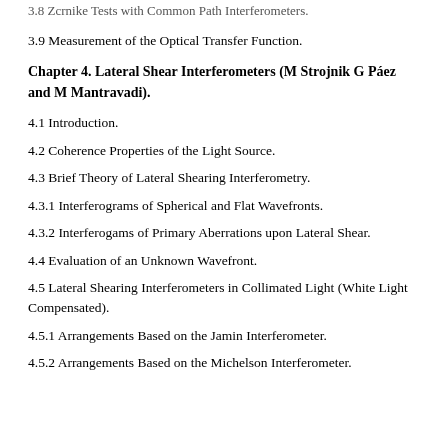3.8 Zernike Tests with Common Path Interferometers.
3.9 Measurement of the Optical Transfer Function.
Chapter 4. Lateral Shear Interferometers (M Strojnik G Páez and M Mantravadi).
4.1 Introduction.
4.2 Coherence Properties of the Light Source.
4.3 Brief Theory of Lateral Shearing Interferometry.
4.3.1 Interferograms of Spherical and Flat Wavefronts.
4.3.2 Interferogams of Primary Aberrations upon Lateral Shear.
4.4 Evaluation of an Unknown Wavefront.
4.5 Lateral Shearing Interferometers in Collimated Light (White Light Compensated).
4.5.1 Arrangements Based on the Jamin Interferometer.
4.5.2 Arrangements Based on the Michelson Interferometer.